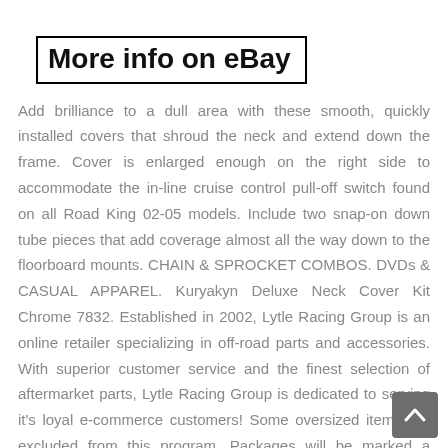More info on eBay
Add brilliance to a dull area with these smooth, quickly installed covers that shroud the neck and extend down the frame. Cover is enlarged enough on the right side to accommodate the in-line cruise control pull-off switch found on all Road King 02-05 models. Include two snap-on down tube pieces that add coverage almost all the way down to the floorboard mounts. CHAIN & SPROCKET COMBOS. DVDs & CASUAL APPAREL. Kuryakyn Deluxe Neck Cover Kit Chrome 7832. Established in 2002, Lytle Racing Group is an online retailer specializing in off-road parts and accessories. With superior customer service and the finest selection of aftermarket parts, Lytle Racing Group is dedicated to serving it's loyal e-commerce customers! Some oversized items are excluded from this program. Packages will be marked as merchandise, not as a gift. LRG stands behind all products we